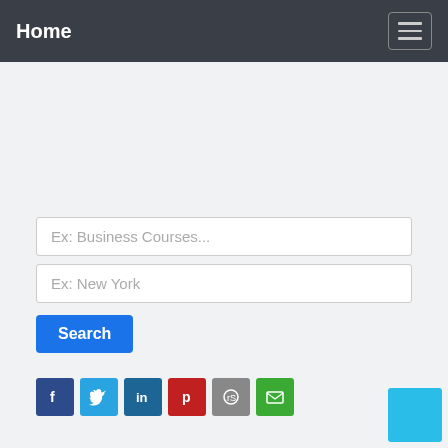Home
Ex: Business Courses...
Ex: New York
Search
[Figure (infographic): Social sharing icon buttons: Facebook (blue), Twitter (light blue), LinkedIn (dark blue), Pinterest (red), Reddit (grey), Email (green)]
Listing Results Employee